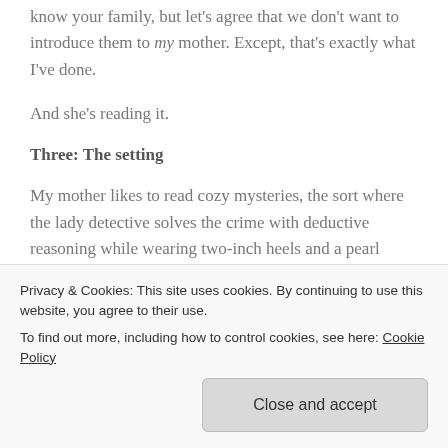know your family, but let's agree that we don't want to introduce them to my mother. Except, that's exactly what I've done.
And she's reading it.
Three: The setting
My mother likes to read cozy mysteries, the sort where the lady detective solves the crime with deductive reasoning while wearing two-inch heels and a pearl necklace. These tend to take place in quaint Eastern Seaboard villages or atmospheric
Privacy & Cookies: This site uses cookies. By continuing to use this website, you agree to their use.
To find out more, including how to control cookies, see here: Cookie Policy
Close and accept